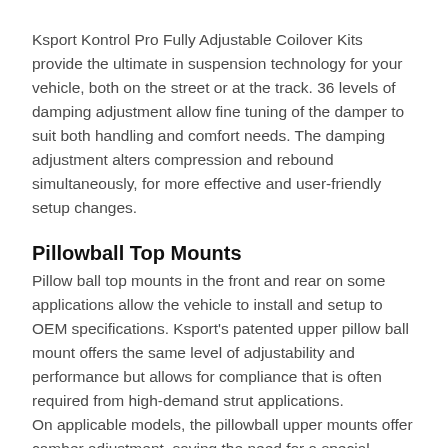Ksport Kontrol Pro Fully Adjustable Coilover Kits provide the ultimate in suspension technology for your vehicle, both on the street or at the track. 36 levels of damping adjustment allow fine tuning of the damper to suit both handling and comfort needs. The damping adjustment alters compression and rebound simultaneously, for more effective and user-friendly setup changes.
Pillowball Top Mounts
Pillow ball top mounts in the front and rear on some applications allow the vehicle to install and setup to OEM specifications. Ksport's patented upper pillow ball mount offers the same level of adjustability and performance but allows for compliance that is often required from high-demand strut applications.
On applicable models, the pillowball upper mounts offer camber adjustment, saving the need for a special, separate camber kit. For enthusiasts seeking the ultimate